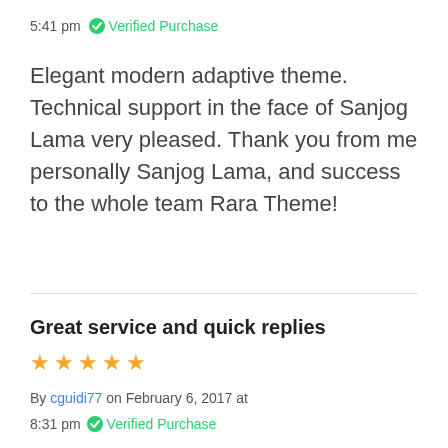5:41 pm ✓ Verified Purchase
Elegant modern adaptive theme. Technical support in the face of Sanjog Lama very pleased. Thank you from me personally Sanjog Lama, and success to the whole team Rara Theme!
Great service and quick replies
★★★★★
By cguidi77 on February 6, 2017 at 8:31 pm ✓ Verified Purchase